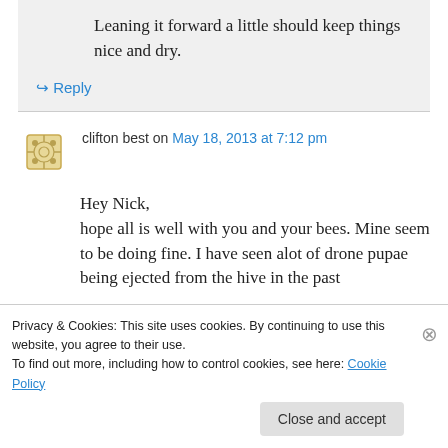Leaning it forward a little should keep things nice and dry.
↳ Reply
clifton best on May 18, 2013 at 7:12 pm
Hey Nick,
hope all is well with you and your bees. Mine seem to be doing fine. I have seen alot of drone pupae being ejected from the hive in the past
Privacy & Cookies: This site uses cookies. By continuing to use this website, you agree to their use.
To find out more, including how to control cookies, see here: Cookie Policy
Close and accept